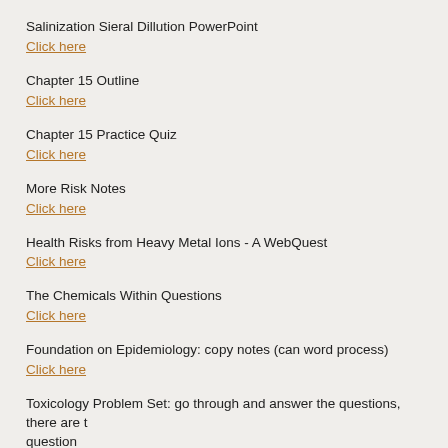Salinization Sieral Dillution PowerPoint
Click here
Chapter 15 Outline
Click here
Chapter 15 Practice Quiz
Click here
More Risk Notes
Click here
Health Risks from Heavy Metal Ions - A WebQuest
Click here
The Chemicals Within Questions
Click here
Foundation on Epidemiology: copy notes (can word process)
Click here
Toxicology Problem Set: go through and answer the questions, there are t question
Click here
Math Attack
Click here
Chemicals the Environment and You (Do lessons 2 through 6)
Click here